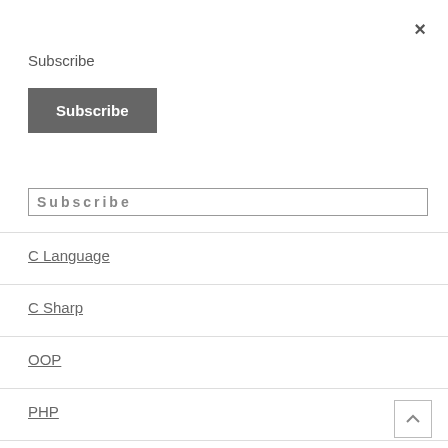×
Subscribe
Subscribe
Subscribe (input field placeholder)
C Language
C Sharp
OOP
PHP
Programming
Programming Projects